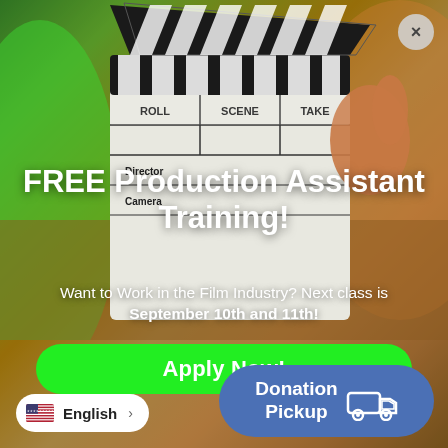[Figure (photo): Background photo of a film clapperboard being held by a hand, with a green screen and warm orange/brown lighting in the background. The clapperboard shows ROLL, SCENE, TAKE, Director, Camera fields.]
FREE Production Assistant Training!
Want to Work in the Film Industry? Next class is September 10th and 11th!
Apply Now!
Donation Pickup
English